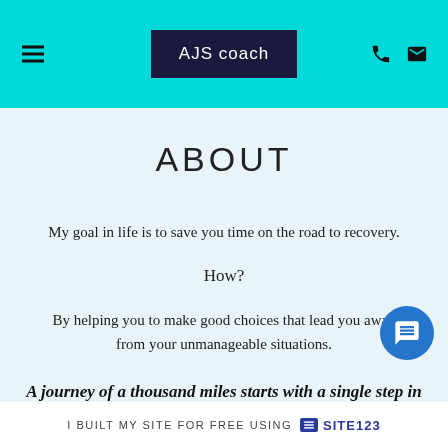AJS coach
ABOUT
My goal in life is to save you time on the road to recovery.
How?
By helping you to make good choices that lead you away from your unmanageable situations.
A journey of a thousand miles starts with a single step in
I BUILT MY SITE FOR FREE USING SITE123